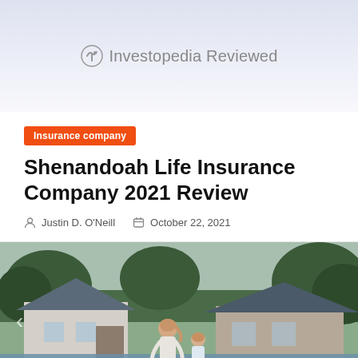Investopedia Reviewed
Insurance company
Shenandoah Life Insurance Company 2021 Review
Justin D. O'Neill   October 22, 2021
[Figure (photo): A woman and young child standing at the edge of floodwater, looking at flooded suburban houses surrounded by water, with trees in the background.]